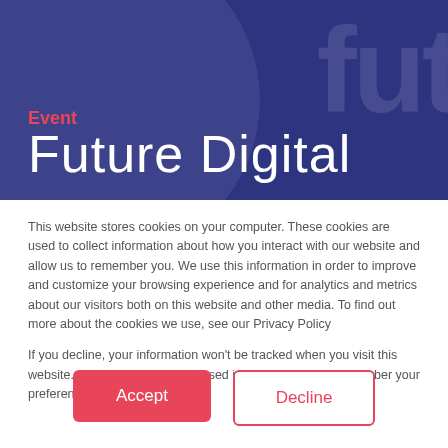[Figure (illustration): Dark navy blue banner background with large faint 'fut' text watermark in top-right and a large faint circle on left side]
Event
Future Digital
This website stores cookies on your computer. These cookies are used to collect information about how you interact with our website and allow us to remember you. We use this information in order to improve and customize your browsing experience and for analytics and metrics about our visitors both on this website and other media. To find out more about the cookies we use, see our Privacy Policy
If you decline, your information won't be tracked when you visit this website. A single cookie will be used in your browser to remember your preference not to be tracked.
Accept
Decline